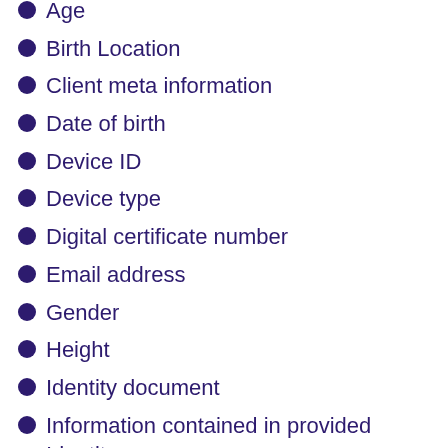Age
Birth Location
Client meta information
Date of birth
Device ID
Device type
Digital certificate number
Email address
Gender
Height
Identity document
Information contained in provided Identity documents
IP address
Mobile phone number